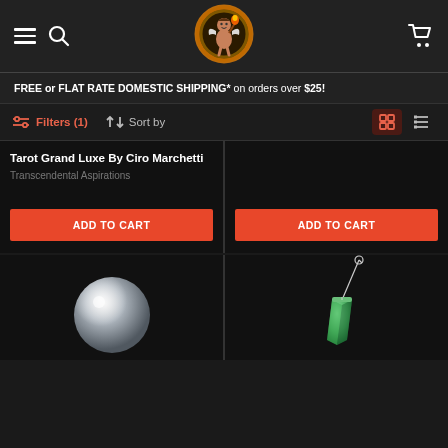Navigation header with hamburger menu, search icon, logo, and cart icon
FREE or FLAT RATE DOMESTIC SHIPPING* on orders over $25!
Filters (1)  Sort by
Tarot Grand Luxe By Ciro Marchetti
Transcendental Aspirations
ADD TO CART
ADD TO CART
[Figure (photo): Crystal ball sphere product photo on black background]
[Figure (photo): Green crystal pendulum on string, product photo on black background]